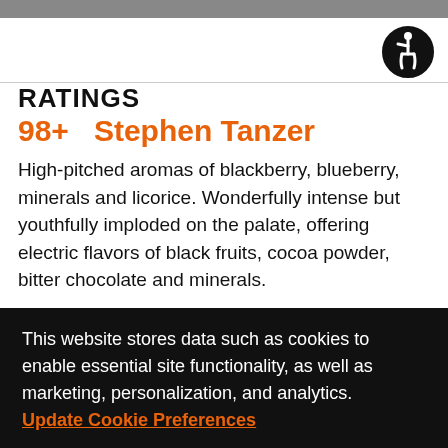RATINGS
98+  Stephen Tanzer
High-pitched aromas of blackberry, blueberry, minerals and licorice. Wonderfully intense but youthfully imploded on the palate, offering electric flavors of black fruits, cocoa powder, bitter chocolate and minerals.
This website stores data such as cookies to enable essential site functionality, as well as marketing, personalization, and analytics. Update Cookie Preferences
Accept
Deny